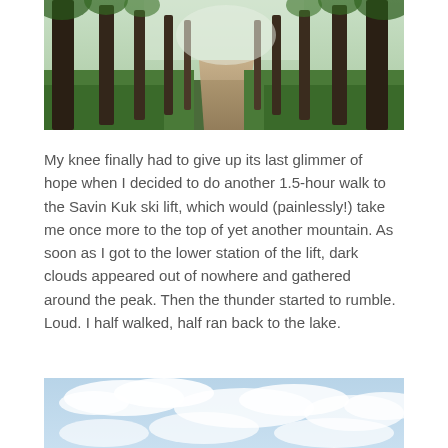[Figure (photo): A forest path lined with tall pine trees and green undergrowth, leading into a misty distance.]
My knee finally had to give up its last glimmer of hope when I decided to do another 1.5-hour walk to the Savin Kuk ski lift, which would (painlessly!) take me once more to the top of yet another mountain. As soon as I got to the lower station of the lift, dark clouds appeared out of nowhere and gathered around the peak. Then the thunder started to rumble. Loud. I half walked, half ran back to the lake.
[Figure (photo): A sky with white clouds and light blue background, partially visible at the bottom of the page.]